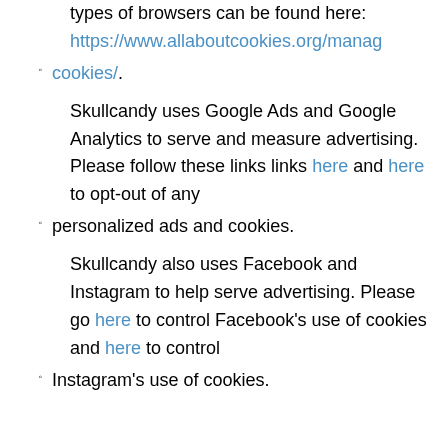types of browsers can be found here: https://www.allaboutcookies.org/manage-cookies/.
cookies/.
Skullcandy uses Google Ads and Google Analytics to serve and measure advertising. Please follow these links links here and here to opt-out of any personalized ads and cookies.
personalized ads and cookies.
Skullcandy also uses Facebook and Instagram to help serve advertising. Please go here to control Facebook’s use of cookies and here to control Instagram’s use of cookies.
Instagram’s use of cookies.